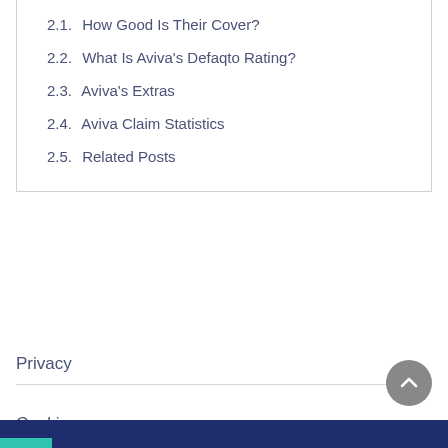2.1.  How Good Is Their Cover?
2.2.  What Is Aviva's Defaqto Rating?
2.3.  Aviva's Extras
2.4.  Aviva Claim Statistics
2.5.  Related Posts
Privacy
Cookies